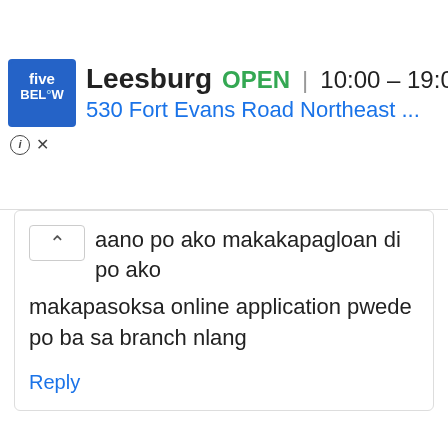[Figure (screenshot): Five Below store ad banner showing logo, 'Leesburg OPEN 10:00 – 19:00', address '530 Fort Evans Road Northeast ...' with navigation icon, and info/close icons below]
aano po ako makakapagloan di po ako makapasoksa online application pwede po ba sa branch nlang
Reply